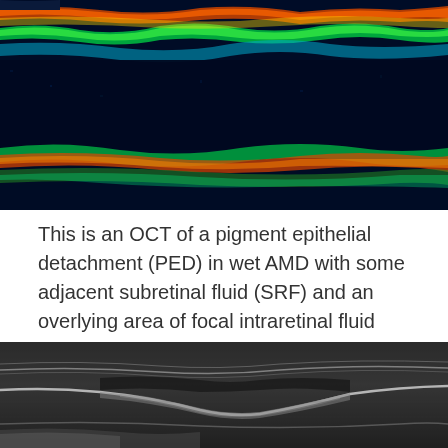[Figure (photo): Color OCT scan showing pigment epithelial detachment (PED) in wet AMD with false-color thermal mapping (blue/green/yellow/red) showing retinal layers and fluid accumulation]
This is an OCT of a pigment epithelial detachment (PED) in wet AMD with some adjacent subretinal fluid (SRF) and an overlying area of focal intraretinal fluid (IRF).
[Figure (photo): Grayscale OCT scan showing retinal layers with pigment epithelial detachment, subretinal fluid, and intraretinal fluid features]